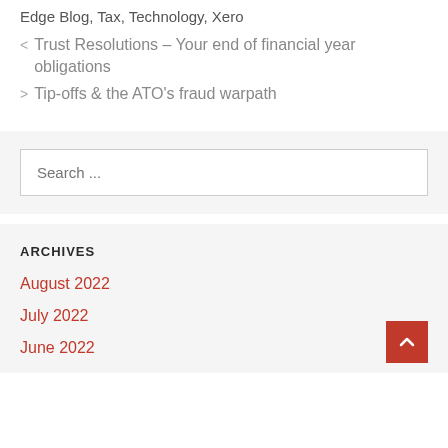Edge Blog, Tax, Technology, Xero
< Trust Resolutions – Your end of financial year obligations
> Tip-offs & the ATO's fraud warpath
Search ...
ARCHIVES
August 2022
July 2022
June 2022